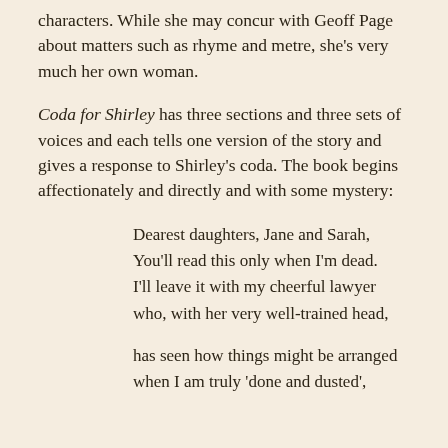characters. While she may concur with Geoff Page about matters such as rhyme and metre, she's very much her own woman.
Coda for Shirley has three sections and three sets of voices and each tells one version of the story and gives a response to Shirley's coda. The book begins affectionately and directly and with some mystery:
Dearest daughters, Jane and Sarah,
You'll read this only when I'm dead.
I'll leave it with my cheerful lawyer
who, with her very well-trained head,

has seen how things might be arranged
when I am truly 'done and dusted',